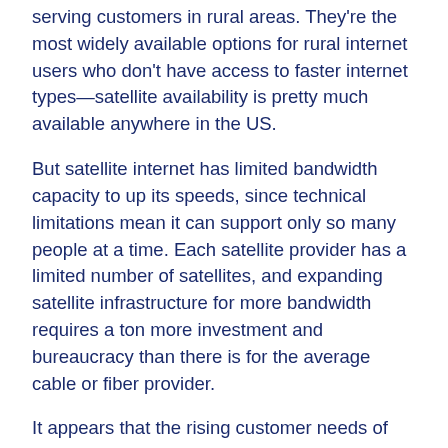serving customers in rural areas. They're the most widely available options for rural internet users who don't have access to faster internet types—satellite availability is pretty much available anywhere in the US.
But satellite internet has limited bandwidth capacity to up its speeds, since technical limitations mean it can support only so many people at a time. Each satellite provider has a limited number of satellites, and expanding satellite infrastructure for more bandwidth requires a ton more investment and bureaucracy than there is for the average cable or fiber provider.
It appears that the rising customer needs of the pandemic may have put extra strain on the providers' systems. As the table shows below, both providers experienced particularly stark decreases in speed between July 2019 and July 2020. (Starlink isn't included because there wasn't enough customer data available for the beta-testing service.)